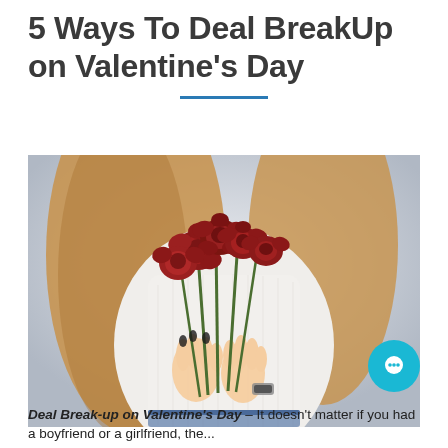5 Ways To Deal BreakUp on Valentine's Day
[Figure (photo): A woman in a white knit sweater holding a bouquet of dried red roses, photographed from the neck down against a light background.]
Deal Break-up on Valentine's Day – It doesn't matter if you had a boyfriend or a girlfriend, the...